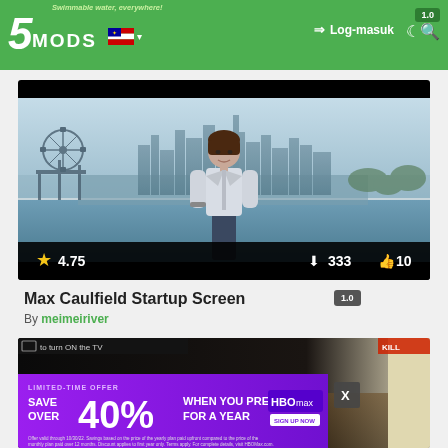5MODS — Log-masuk — Swimmable water, everywhere!
[Figure (screenshot): Mod thumbnail showing Max Caulfield character standing in front of a cityscape with ferris wheel, rating 4.75, 333 downloads, 10 likes]
Max Caulfield Startup Screen
By meimeiriver
[Figure (screenshot): Second mod thumbnail partially visible, showing dark scene with TV prompt and HBO Max advertisement overlay]